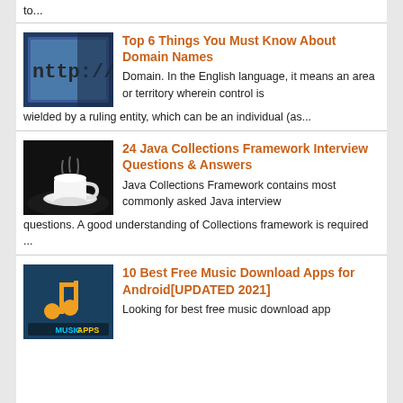to...
[Figure (photo): A close-up of a computer screen showing http:// in the address bar]
Top 6 Things You Must Know About Domain Names
Domain. In the English language, it means an area or territory wherein control is wielded by a ruling entity, which can be an individual (as...
[Figure (photo): A dark background with a coffee cup on a saucer with steam rising]
24 Java Collections Framework Interview Questions & Answers
Java Collections Framework contains most commonly asked Java interview questions. A good understanding of Collections framework is required ...
[Figure (photo): Music apps graphic with musical note icon and text MUSIC APPS on blue background]
10 Best Free Music Download Apps for Android[UPDATED 2021]
Looking for best free music download app